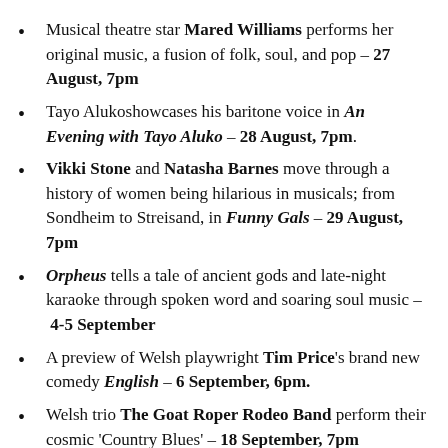Musical theatre star Mared Williams performs her original music, a fusion of folk, soul, and pop – 27 August, 7pm
Tayo Alukoshowcases his baritone voice in An Evening with Tayo Aluko – 28 August, 7pm.
Vikki Stone and Natasha Barnes move through a history of women being hilarious in musicals; from Sondheim to Streisand, in Funny Gals – 29 August, 7pm
Orpheus tells a tale of ancient gods and late-night karaoke through spoken word and soaring soul music – 4-5 September
A preview of Welsh playwright Tim Price's brand new comedy English – 6 September, 6pm.
Welsh trio The Goat Roper Rodeo Band perform their cosmic 'Country Blues' – 18 September, 7pm
Steffan Hughes presents an evening of performances